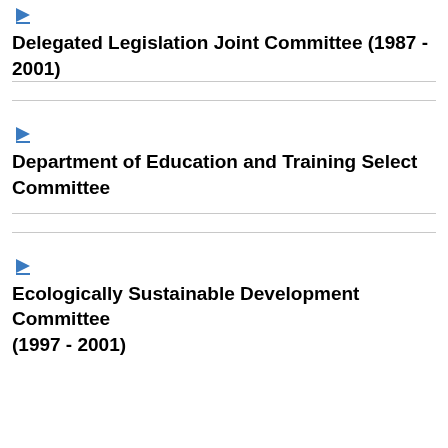Delegated Legislation Joint Committee (1987 - 2001)
Department of Education and Training Select Committee
Ecologically Sustainable Development Committee (1997 - 2001)